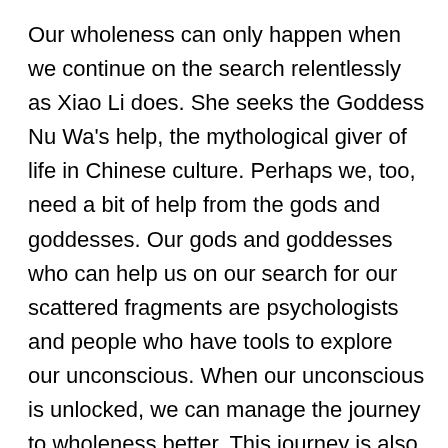Our wholeness can only happen when we continue on the search relentlessly as Xiao Li does. She seeks the Goddess Nu Wa's help, the mythological giver of life in Chinese culture. Perhaps we, too, need a bit of help from the gods and goddesses. Our gods and goddesses who can help us on our search for our scattered fragments are psychologists and people who have tools to explore our unconscious. When our unconscious is unlocked, we can manage the journey to wholeness better. This journey is also one of self-empowerment. It begins when our unconscious yields to us the knowledge regarding which fragments of us are Chinese, which bits are White-Anglo Australian and so In short, we begin